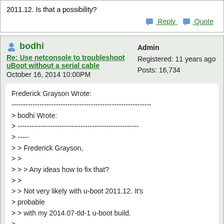2011.12. Is that a possibility?
Reply   Quote
bodhi
Re: Use netconsole to troubleshoot uBoot without a serial cable
October 16, 2014 10:00PM
Admin
Registered: 11 years ago
Posts: 16,734
Frederick Grayson Wrote:
------------------------------------------------------------
> bodhi Wrote:
> ----------------------------------------------------
> -----
> > Frederick Grayson,
> >
> > > Any ideas how to fix that?
> >
> > Not very likely with u-boot 2011.12. It's
> probable
> > with my 2014.07-tld-1 u-boot build.
>
> What would be nice is to also be able to boot back
> into the original Pogoplug OS like I can do now